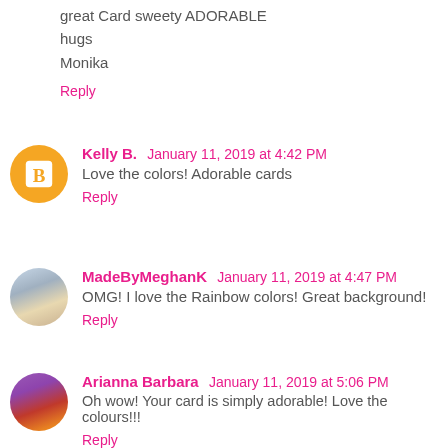great Card sweety ADORABLE
hugs
Monika
Reply
Kelly B.  January 11, 2019 at 4:42 PM
Love the colors! Adorable cards
Reply
MadeByMeghanK  January 11, 2019 at 4:47 PM
OMG! I love the Rainbow colors! Great background!
Reply
Arianna Barbara  January 11, 2019 at 5:06 PM
Oh wow! Your card is simply adorable! Love the colours!!!
Reply